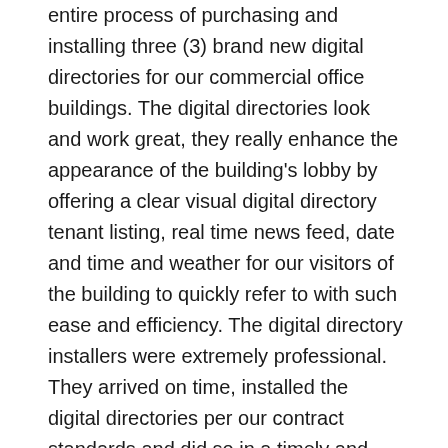entire process of purchasing and installing three (3) brand new digital directories for our commercial office buildings. The digital directories look and work great, they really enhance the appearance of the building's lobby by offering a clear visual digital directory tenant listing, real time news feed, date and time and weather for our visitors of the building to quickly refer to with such ease and efficiency. The digital directory installers were extremely professional. They arrived on time, installed the digital directories per our contract standards and did so in a timely and proficient manner. Having the ability to make edits to the digital directory and to see